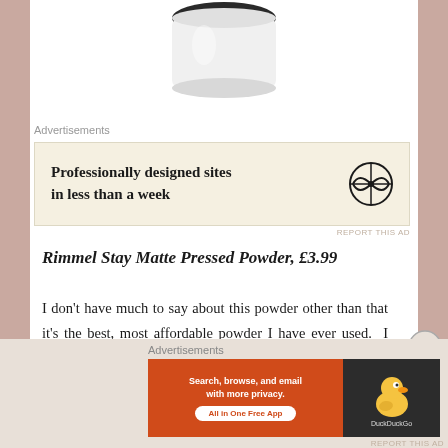[Figure (photo): Partial view of a white cosmetic powder container with '3 oz.' text on lid, cut off at top of page]
Advertisements
[Figure (other): WordPress advertisement: 'Professionally designed sites in less than a week' with WordPress logo on cream background]
REPORT THIS AD
Rimmel Stay Matte Pressed Powder, £3.99
I don't have much to say about this powder other than that it's the best, most affordable powder I have ever used.  I keep this powder for daytime and for when I am just running about and don't need my make up cemented to my
Advertisements
[Figure (other): DuckDuckGo advertisement: 'Search, browse, and email with more privacy. All in One Free App' on orange and dark background with DuckDuckGo duck logo]
REPORT THIS AD